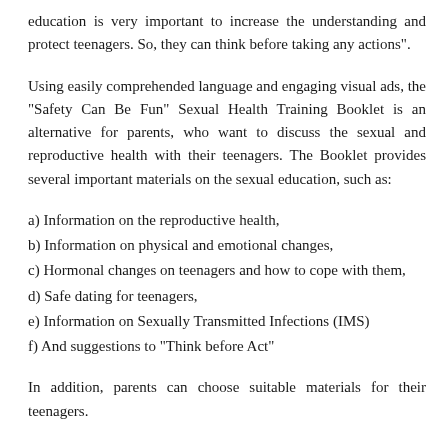education is very important to increase the understanding and protect teenagers. So, they can think before taking any actions”.
Using easily comprehended language and engaging visual ads, the “Safety Can Be Fun” Sexual Health Training Booklet is an alternative for parents, who want to discuss the sexual and reproductive health with their teenagers. The Booklet provides several important materials on the sexual education, such as:
a) Information on the reproductive health,
b) Information on physical and emotional changes,
c) Hormonal changes on teenagers and how to cope with them,
d) Safe dating for teenagers,
e) Information on Sexually Transmitted Infections (IMS)
f) And suggestions to “Think before Act”
In addition, parents can choose suitable materials for their teenagers.